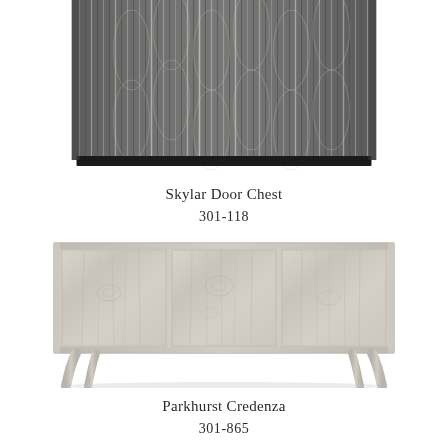[Figure (photo): Close-up top portion of Skylar Door Chest showing dark gray/charcoal textured surface with vertical ribbed wave pattern in silver-gray tones, resting on a black base.]
Skylar Door Chest
301-118
[Figure (photo): Parkhurst Credenza with light gray/white washed wood grain three-door front panels, silver/chrome frame and legs with curved angled feet.]
Parkhurst Credenza
301-865